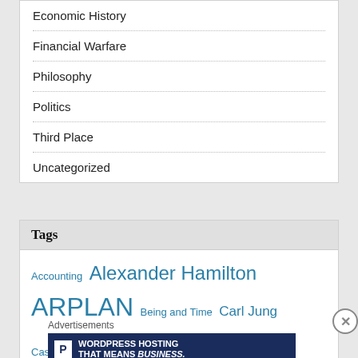Economic History
Financial Warfare
Philosophy
Politics
Third Place
Uncategorized
Tags
Accounting  Alexander Hamilton  ARPLAN  Being and Time  Carl Jung  Cassandra Coefficient  China  Cold War  Compendium  Conservatism  Coronavirus Pandemic
Advertisements
[Figure (infographic): WordPress Hosting That Means BUSINESS. advertisement banner with P logo and OPEN sign photo]